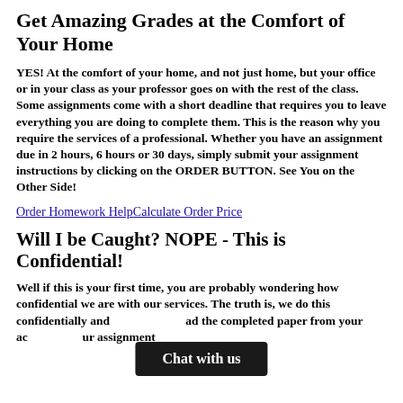Get Amazing Grades at the Comfort of Your Home
YES! At the comfort of your home, and not just home, but your office or in your class as your professor goes on with the rest of the class. Some assignments come with a short deadline that requires you to leave everything you are doing to complete them. This is the reason why you require the services of a professional. Whether you have an assignment due in 2 hours, 6 hours or 30 days, simply submit your assignment instructions by clicking on the ORDER BUTTON. See You on the Other Side!
Order Homework HelpCalculate Order Price
Will I be Caught? NOPE - This is Confidential!
Well if this is your first time, you are probably wondering how confidential we are with our services. The truth is, we do this confidentially and … load the completed paper from your ac… our assignment